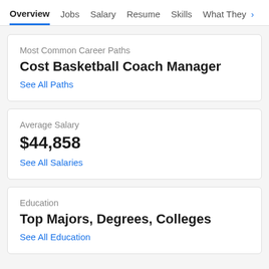Overview  Jobs  Salary  Resume  Skills  What They >
Most Common Career Paths
Cost Basketball Coach Manager
See All Paths
Average Salary
$44,858
See All Salaries
Education
Top Majors, Degrees, Colleges
See All Education